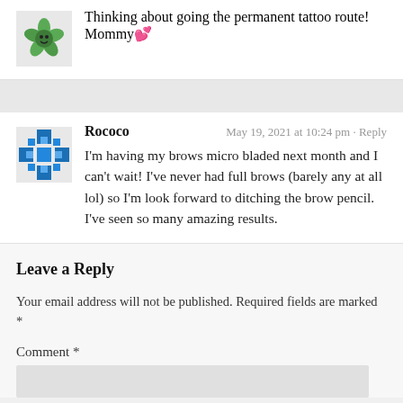Thinking about going the permanent tattoo route! Mommy💕
Rococo
May 19, 2021 at 10:24 pm · Reply
I'm having my brows micro bladed next month and I can't wait! I've never had full brows (barely any at all lol) so I'm look forward to ditching the brow pencil. I've seen so many amazing results.
Leave a Reply
Your email address will not be published. Required fields are marked *
Comment *